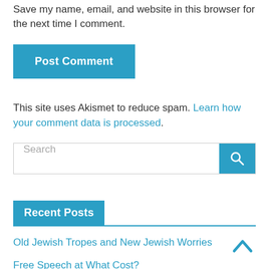Save my name, email, and website in this browser for the next time I comment.
Post Comment
This site uses Akismet to reduce spam. Learn how your comment data is processed.
Search
Recent Posts
Old Jewish Tropes and New Jewish Worries
Free Speech at What Cost?
What Would Grandma Have Told Me About Ukraine?